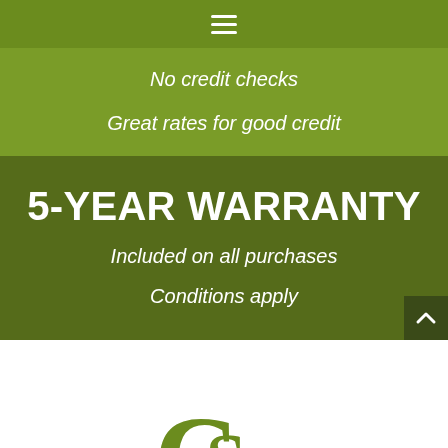Navigation menu icon (hamburger)
No credit checks
Great rates for good credit
5-YEAR WARRANTY
Included on all purchases
Conditions apply
[Figure (logo): CSC company logo in olive green, partially visible at bottom of page]